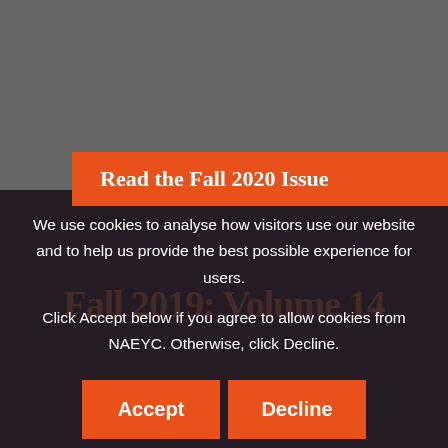[Figure (screenshot): Gray background top section of a website page]
Read the Fall 2020 Issue
Fall 2019: Volume 14
We use cookies to analyse how visitors use our website and to help us provide the best possible experience for users.
Click Accept below if you agree to allow cookies from NAEYC. Otherwise, click Decline.
Accept
Decline